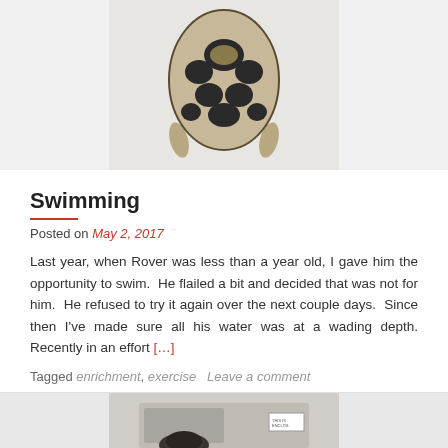[Figure (photo): Top-down view of a tortoise shell with black and tan patterning, legs visible at bottom, on a light background]
Swimming
Posted on May 2, 2017
Last year, when Rover was less than a year old, I gave him the opportunity to swim. He flailed a bit and decided that was not for him. He refused to try it again over the next couple days. Since then I've made sure all his water was at a wading depth. Recently in an effort [...]
Tagged enrichment, exercise    Leave a comment
[Figure (photo): Partial view of a tortoise or turtle with an enclosure, text label visible in background]